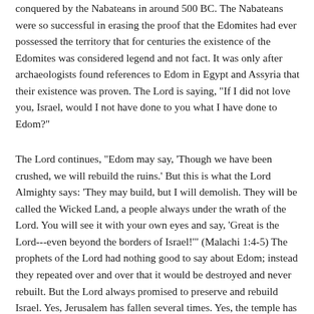conquered by the Nabateans in around 500 BC. The Nabateans were so successful in erasing the proof that the Edomites had ever possessed the territory that for centuries the existence of the Edomites was considered legend and not fact. It was only after archaeologists found references to Edom in Egypt and Assyria that their existence was proven. The Lord is saying, "If I did not love you, Israel, would I not have done to you what I have done to Edom?"
The Lord continues, "Edom may say, 'Though we have been crushed, we will rebuild the ruins.' But this is what the Lord Almighty says: 'They may build, but I will demolish. They will be called the Wicked Land, a people always under the wrath of the Lord. You will see it with your own eyes and say, 'Great is the Lord---even beyond the borders of Israel!'" (Malachi 1:4-5) The prophets of the Lord had nothing good to say about Edom; instead they repeated over and over that it would be destroyed and never rebuilt. But the Lord always promised to preserve and rebuild Israel. Yes, Jerusalem has fallen several times. Yes, the temple has been destroyed twice. Yes, God has put Israel through the refiner's fire time and again. But all of this was intended as correction and not destruction. God was dealing with Israel as a man deals with